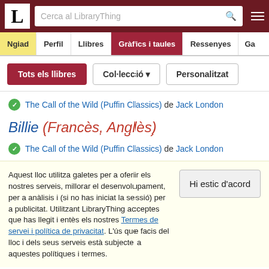LibraryThing - Cerca al LibraryThing
Ngiad | Perfil | Llibres | Gràfics i taules | Ressenyes | Ga
Tots els llibres | Col·lecció | Personalitzat
The Call of the Wild (Puffin Classics) de Jack London
Billie (Francès, Anglès)
The Call of the Wild (Puffin Classics) de Jack London
Aquest lloc utilitza galetes per a oferir els nostres serveis, millorar el desenvolupament, per a anàlisis i (si no has iniciat la sessió) per a publicitat. Utilitzant LibraryThing acceptes que has llegit i entès els nostres Termes de servei i política de privacitat. L'ús que facis del lloc i dels seus serveis està subjecte a aquestes polítiques i termes.
Hi estic d'acord